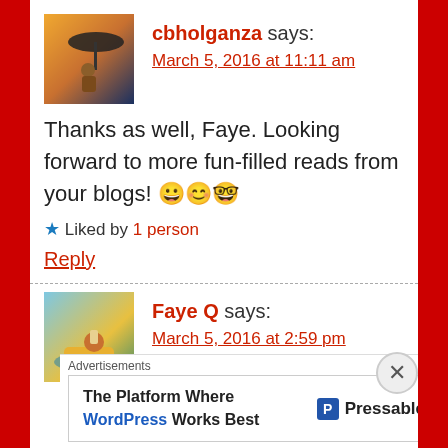cbholganza says:
March 5, 2016 at 11:11 am
Thanks as well, Faye. Looking forward to more fun-filled reads from your blogs! 😀😊🤓
★ Liked by 1 person
Reply
Faye Q says:
March 5, 2016 at 2:59 pm
Advertisements
The Platform Where WordPress Works Best | Pressable